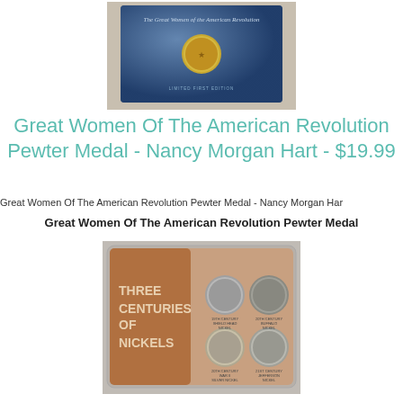[Figure (photo): Photo of Great Women of the American Revolution commemorative medal in blue display card]
Great Women Of The American Revolution Pewter Medal - Nancy Morgan Hart - $19.99
Great Women Of The American Revolution Pewter Medal - Nancy Morgan Har
Great Women Of The American Revolution Pewter Medal
[Figure (photo): Photo of Three Centuries of Nickels coin collection set in plastic display case]